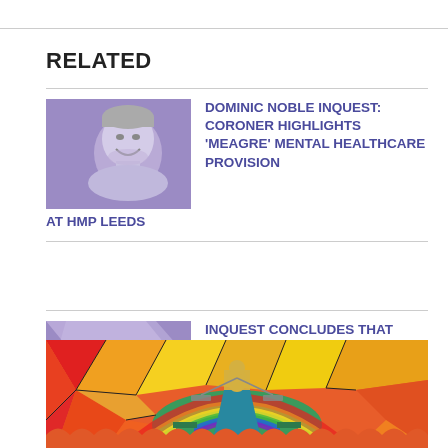RELATED
[Figure (photo): Black and white photo of a smiling man overlaid on a purple background thumbnail]
DOMINIC NOBLE INQUEST: CORONER HIGHLIGHTS ‘MEAGRE’ MENTAL HEALTHCARE PROVISION AT HMP LEEDS
[Figure (illustration): Purple abstract shape thumbnail for second article]
INQUEST CONCLUDES THAT SERIOUS STATE FAILINGS CONTRIBUTED TO UNLAWFUL KILLING OF EIGHT WEEK OLD HARPER DENTON
[Figure (illustration): Colorful stained glass style illustration of Lady Justice holding scales, with rainbow geometric mosaic background]